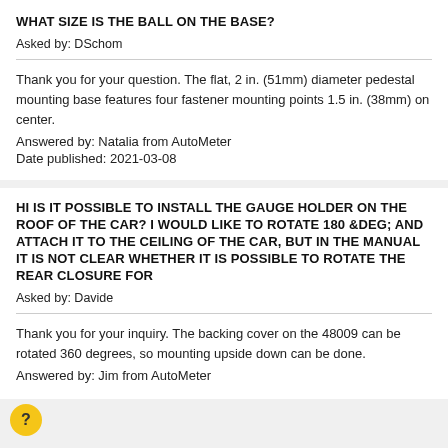WHAT SIZE IS THE BALL ON THE BASE?
Asked by: DSchom
Thank you for your question. The flat, 2 in. (51mm) diameter pedestal mounting base features four fastener mounting points 1.5 in. (38mm) on center.
Answered by: Natalia from AutoMeter
Date published: 2021-03-08
HI IS IT POSSIBLE TO INSTALL THE GAUGE HOLDER ON THE ROOF OF THE CAR? I WOULD LIKE TO ROTATE 180 &DEG; AND ATTACH IT TO THE CEILING OF THE CAR, BUT IN THE MANUAL IT IS NOT CLEAR WHETHER IT IS POSSIBLE TO ROTATE THE REAR CLOSURE FOR
Asked by: Davide
Thank you for your inquiry. The backing cover on the 48009 can be rotated 360 degrees, so mounting upside down can be done.
Answered by: Jim from AutoMeter